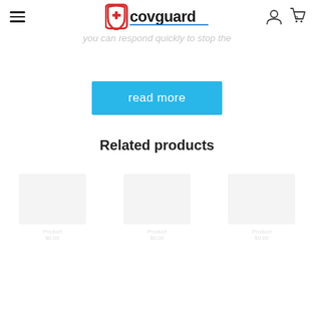covguard — navigation header with hamburger menu, logo, user icon, and cart (0)
infected staff. Informed within dashboards, Staff working conditions & entries, community group and testing can be a game-changer so you can respond quickly to stop the
[Figure (other): Blue 'read more' button]
Related products
[Figure (other): Faded product grid placeholder area with 6 product thumbnails]